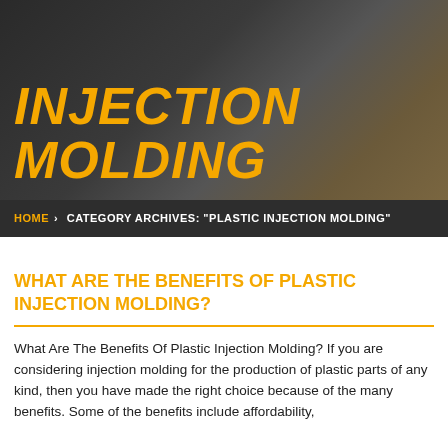INJECTION MOLDING
HOME > CATEGORY ARCHIVES: "PLASTIC INJECTION MOLDING"
WHAT ARE THE BENEFITS OF PLASTIC INJECTION MOLDING?
What Are The Benefits Of Plastic Injection Molding? If you are considering injection molding for the production of plastic parts of any kind, then you have made the right choice because of the many benefits. Some of the benefits include affordability,